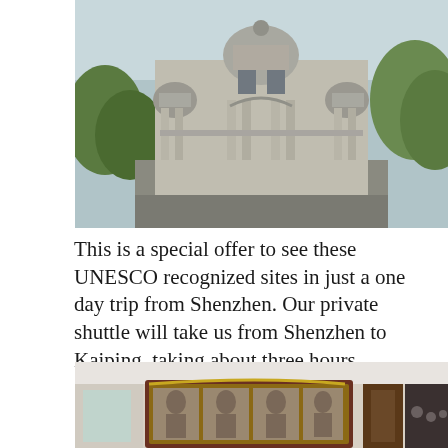[Figure (photo): Exterior facade of an ornate historic building with domed towers, arched colonnades, balconies, and weathered stone surfaces, surrounded by trees.]
This is a special offer to see these UNESCO recognized sites in just a one day trip from Shenzhen. Our private shuttle will take us from Shenzhen to Kaiping, taking about three hours.
[Figure (photo): Interior room showing a large ornate framed display of sepia portrait photographs of people in formal attire, mounted on a wall next to a wooden door.]